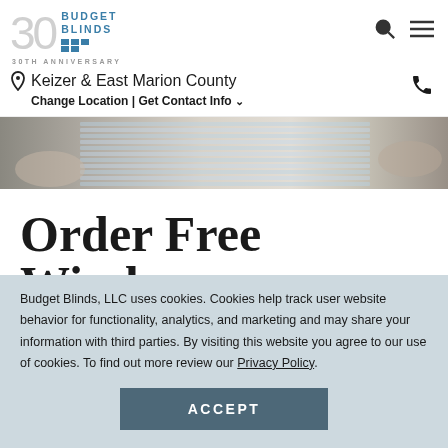[Figure (logo): Budget Blinds 30th Anniversary logo with '30' in light gray and blue square icon]
Keizer & East Marion County
Change Location | Get Contact Info ˅
[Figure (photo): Close-up photo of hands touching window blinds samples]
Order Free Window
Budget Blinds, LLC uses cookies. Cookies help track user website behavior for functionality, analytics, and marketing and may share your information with third parties. By visiting this website you agree to our use of cookies. To find out more review our Privacy Policy.
ACCEPT